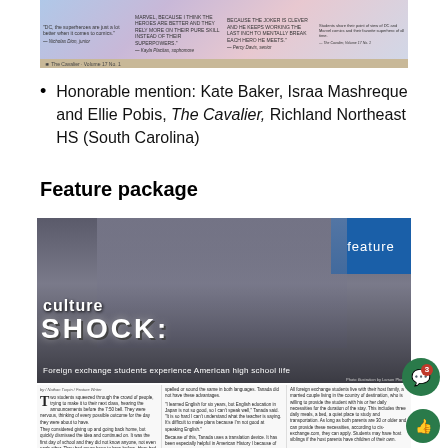[Figure (illustration): Colorful banner with student quote columns about superheroes/comics, pastel gradient background with text quotes and attributions]
Honorable mention: Kate Baker, Israa Mashreque and Ellie Pobis, The Cavalier, Richland Northeast HS (South Carolina)
Feature package
[Figure (photo): Feature package spread showing two female students standing back-to-back in a school hallway, titled 'culture SHOCK: Foreign exchange students experience American high school life' with blue 'feature' label box in top right corner]
Students Carolina Fapmo and Chiham Tanada found that the new experiences American high school has to offer.
by / Nathan Turpin / Feature Writer. Two students squeezed through the crowd of people, trying to make it to their next class, hearing the announcements before the 7:50 bell. They were nervous, thinking of every possible outcome for the day they were about to have. They considered giving up and going back home, but quickly dismissed the idea and continued on. It was the first day of school and they did not know anyone, not even each other. They had never been to here before. Here had never been here in North America. They are foreign exchange students, Carolina Fapmo from Chile and Chiham Tanada from Japan.
Middle column article text about learning English and using a translation device in American History class.
All foreign exchange students live with their host family, a married couple living in the country of destination...